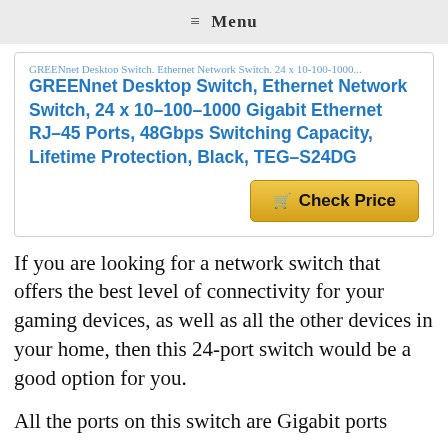≡ Menu
GREENnet Desktop Switch, Ethernet Network Switch, 24 x 10-100-1000 Gigabit Ethernet RJ-45 Ports, 48Gbps Switching Capacity, Lifetime Protection, Black, TEG-S24DG
If you are looking for a network switch that offers the best level of connectivity for your gaming devices, as well as all the other devices in your home, then this 24-port switch would be a good option for you.
All the ports on this switch are Gigabit ports